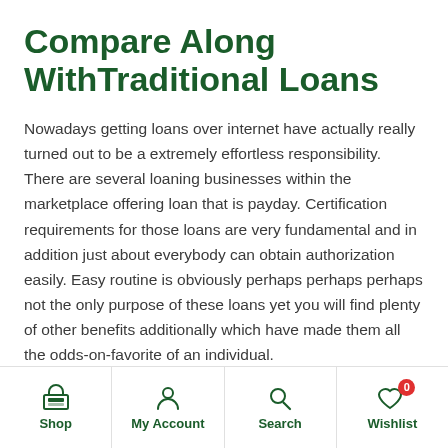Compare Along WithTraditional Loans
Nowadays getting loans over internet have actually really turned out to be a extremely effortless responsibility. There are several loaning businesses within the marketplace offering loan that is payday. Certification requirements for those loans are very fundamental and in addition just about everybody can obtain authorization easily. Easy routine is obviously perhaps perhaps perhaps not the only purpose of these loans yet you will find plenty of other benefits additionally which have made them all the odds-on-favorite of an individual.
Shop | My Account | Search | Wishlist